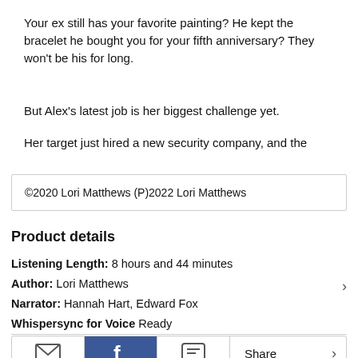Your ex still has your favorite painting? He kept the bracelet he bought you for your fifth anniversary? They won't be his for long.
But Alex's latest job is her biggest challenge yet.
Her target just hired a new security company, and the
©2020 Lori Matthews (P)2022 Lori Matthews
Product details
Listening Length: 8 hours and 44 minutes
Author: Lori Matthews
Narrator: Hannah Hart, Edward Fox
Whispersync for Voice Ready
Audible.com Release Date: February 09, 2022
[Figure (infographic): Share bar with email, Facebook, message icons and Share label with chevron]